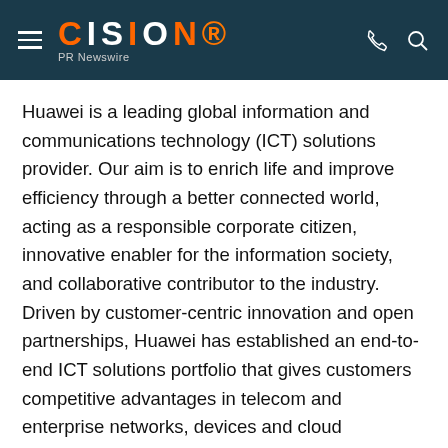CISION PR Newswire
Huawei is a leading global information and communications technology (ICT) solutions provider. Our aim is to enrich life and improve efficiency through a better connected world, acting as a responsible corporate citizen, innovative enabler for the information society, and collaborative contributor to the industry. Driven by customer-centric innovation and open partnerships, Huawei has established an end-to-end ICT solutions portfolio that gives customers competitive advantages in telecom and enterprise networks, devices and cloud computing. Huawei's 170,000 employees worldwide are committed to creating maximum value for